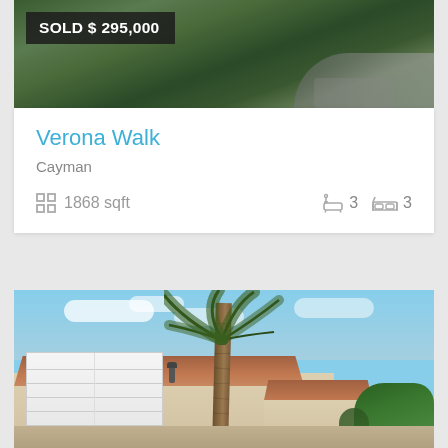[Figure (photo): Aerial or overhead photo of a property with dark green trees and what appears to be a road or driveway, with SOLD badge overlay showing $295,000]
SOLD $ 295,000
Verona Walk
Cayman
1868 sqft
3  3
[Figure (photo): Exterior photo of a residential home with a two-car garage door (white), beige/tan stucco exterior, terra cotta tile roof, a palm tree in the foreground, blue sky with clouds in the background, and green vegetation on the right side]